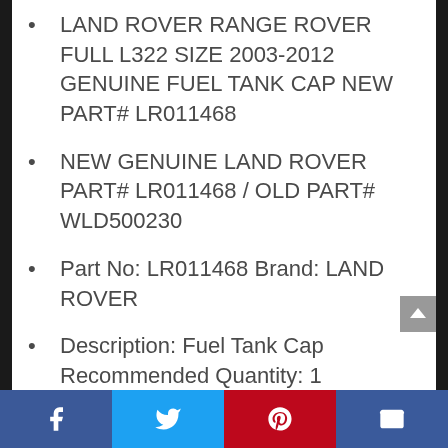LAND ROVER RANGE ROVER FULL L322 SIZE 2003-2012 GENUINE FUEL TANK CAP NEW PART# LR011468
NEW GENUINE LAND ROVER PART# LR011468 / OLD PART# WLD500230
Part No: LR011468 Brand: LAND ROVER
Description: Fuel Tank Cap Recommended Quantity: 1 Dimensions: 0.07 m x 0.07 m x 0.07 m Weight: 0.084 kilo
Facebook | Twitter | Pinterest | Email